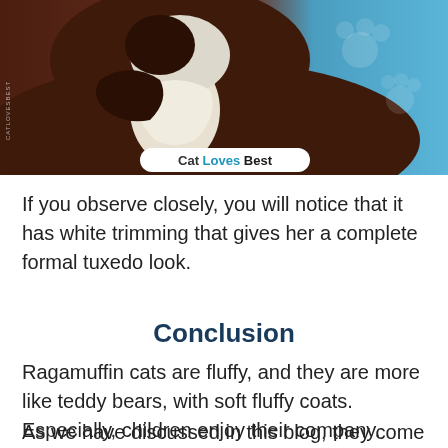[Figure (photo): A fluffy Ragamuffin cat with dark brown/black fur and white chest markings on a blue background. The cat appears to have long fur. A 'Cat Loves Best' logo badge appears at the bottom of the image.]
If you observe closely, you will notice that it has white trimming that gives her a complete formal tuxedo look.
Conclusion
Ragamuffin cats are fluffy, and they are more like teddy bears, with soft fluffy coats. Especially, children enjoy their company.
As we have discussed in this blog, they come in almost all types of colors. If after reading our blog, you get a second thought of